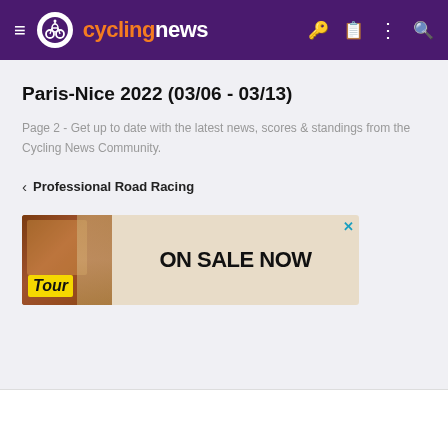cyclingnews
Paris-Nice 2022 (03/06 - 03/13)
Page 2 - Get up to date with the latest news, scores & standings from the Cycling News Community.
< Professional Road Racing
[Figure (photo): Advertisement banner for Tour magazine: ON SALE NOW]
Previous  Next